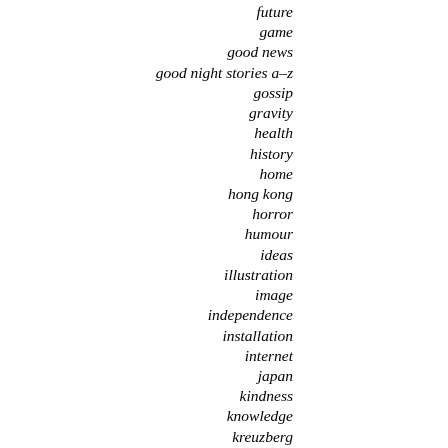future
game
good news
good night stories a–z
gossip
gravity
health
history
home
hong kong
horror
humour
ideas
illustration
image
independence
installation
internet
japan
kindness
knowledge
kreuzberg
landscape
language
leisure
life